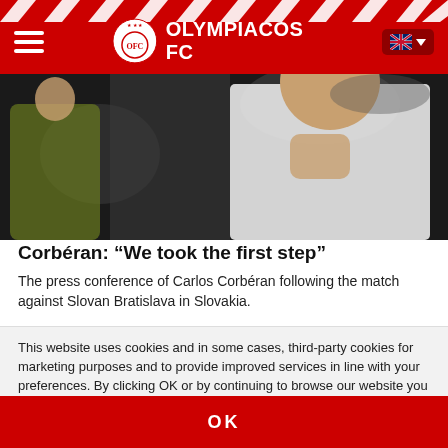OLYMPIACOS FC
[Figure (photo): Carlos Corbéran gesturing on the touchline during a match, wearing a white jacket, with another person in a yellow vest in the background]
Corbéran: “We took the first step”
The press conference of Carlos Corbéran following the match against Slovan Bratislava in Slovakia.
This website uses cookies and in some cases, third-party cookies for marketing purposes and to provide improved services in line with your preferences. By clicking OK or by continuing to browse our website you agree to our use of cookies in accordance with our Cookies Policy. View our Cookies Policy by clicking here.